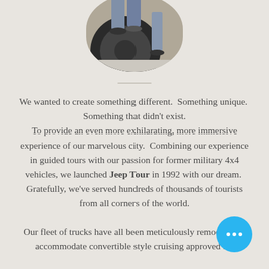[Figure (photo): Circular cropped photo showing a person near a large tire of a vehicle, wearing jeans and sneakers]
We wanted to create something different. Something unique. Something that didn't exist. To provide an even more exhilarating, more immersive experience of our marvelous city. Combining our experience in guided tours with our passion for former military 4x4 vehicles, we launched Jeep Tour in 1992 with our dream. Gratefully, we've served hundreds of thousands of tourists from all corners of the world.

Our fleet of trucks have all been meticulously remodeled to accommodate convertible style cruising approved for